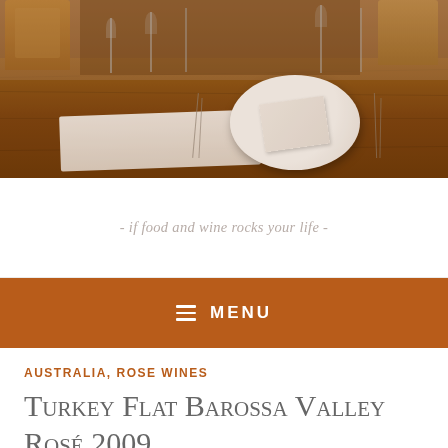[Figure (photo): Restaurant dining room with wooden tables set with plates, napkins, cutlery, and wine glasses. Wooden chairs visible in background. Warm amber/brown tones.]
- if food and wine rocks your life -
MENU
AUSTRALIA, ROSE WINES
Turkey Flat Barossa Valley Rosé 2009
Vera C.